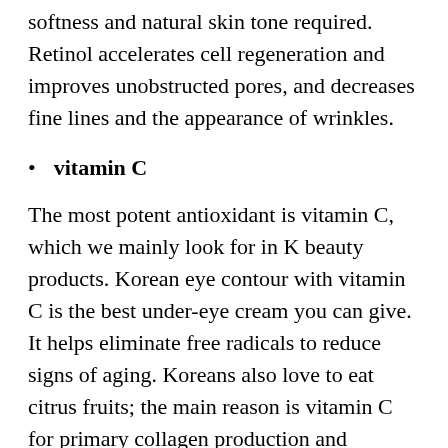softness and natural skin tone required. Retinol accelerates cell regeneration and improves unobstructed pores, and decreases fine lines and the appearance of wrinkles.
vitamin C
The most potent antioxidant is vitamin C, which we mainly look for in K beauty products. Korean eye contour with vitamin C is the best under-eye cream you can give. It helps eliminate free radicals to reduce signs of aging. Koreans also love to eat citrus fruits; the main reason is vitamin C for primary collagen production and substantial antioxidant consumption. In addition to improving overall skin health, it helps increase immunity and reduce skin inflammation problems.